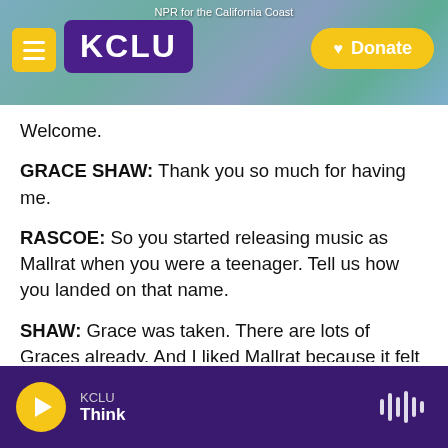NPR for the California Coast — KCLU — Donate
Welcome.
GRACE SHAW: Thank you so much for having me.
RASCOE: So you started releasing music as Mallrat when you were a teenager. Tell us how you landed on that name.
SHAW: Grace was taken. There are lots of Graces already. And I liked Mallrat because it felt '90s, and I liked that it would give a misleading first impression to people that hadn't heard my music yet. So I think people, before I got popular, assumed that Mallrat
KCLU — Think